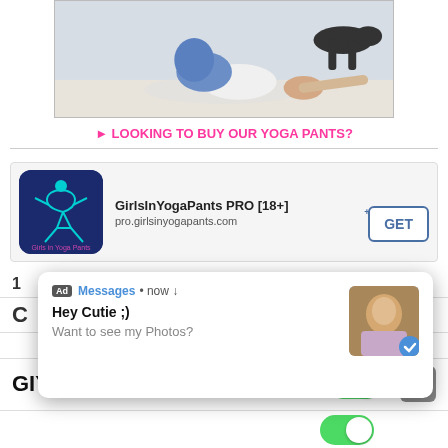[Figure (photo): Person doing a yoga/stretching pose on the floor, bent forward with arms extended, with a black dog standing nearby in the background]
► LOOKING TO BUY OUR YOGA PANTS?
[Figure (screenshot): App card for GirlsInYogaPants PRO [18+] showing app icon (blue background with teal yoga figure and 'Girls in Yoga Pants' text), app URL (pro.girlsinyogapants.com), and a GET button]
[Figure (screenshot): Ad notification popup showing: Ad badge, 'Messages • now ↓', close X button, 'Hey Cutie ;)' title, 'Want to see my Photos?' body text, and a thumbnail image of a woman with a blue check/reply badge]
GIYP Board of Directors
[Figure (screenshot): Green toggle switch (enabled/on) and gray scroll-to-top button with up arrow]